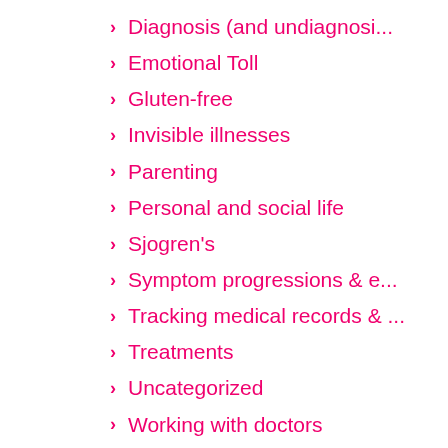Diagnosis (and undiagnosi...
Emotional Toll
Gluten-free
Invisible illnesses
Parenting
Personal and social life
Sjogren's
Symptom progressions & e...
Tracking medical records & ...
Treatments
Uncategorized
Working with doctors